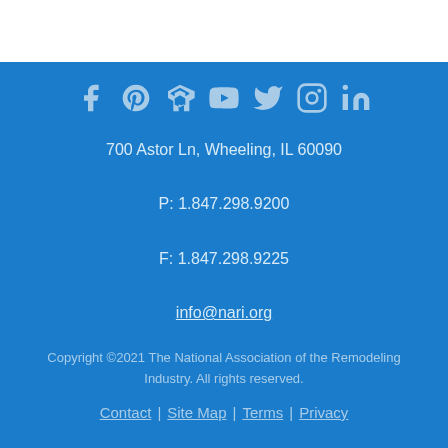[Figure (illustration): Row of social media icons: Facebook, Pinterest, Houzz, YouTube, Twitter, Instagram, LinkedIn — all in light blue on blue background]
700 Astor Ln, Wheeling, IL 60090
P: 1.847.298.9200
F: 1.847.298.9225
info@nari.org
Copyright ©2021 The National Association of the Remodeling Industry. All rights reserved.
Contact | Site Map | Terms | Privacy